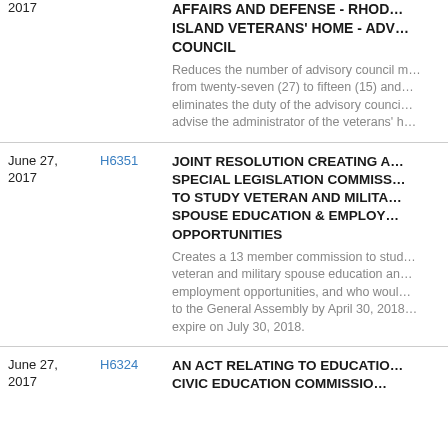2017 | [bill link clipped] | AFFAIRS AND DEFENSE - RHODE ISLAND VETERANS' HOME - ADVISORY COUNCIL
Reduces the number of advisory council members from twenty-seven (27) to fifteen (15) and eliminates the duty of the advisory council to advise the administrator of the veterans' home.
June 27, 2017 | H6351 | JOINT RESOLUTION CREATING A SPECIAL LEGISLATION COMMISSION TO STUDY VETERAN AND MILITARY SPOUSE EDUCATION & EMPLOYMENT OPPORTUNITIES
Creates a 13 member commission to study veteran and military spouse education and employment opportunities, and who would report to the General Assembly by April 30, 2018 and expire on July 30, 2018.
June 27, 2017 | H6324 | AN ACT RELATING TO EDUCATION - CIVIC EDUCATION COMMISSION